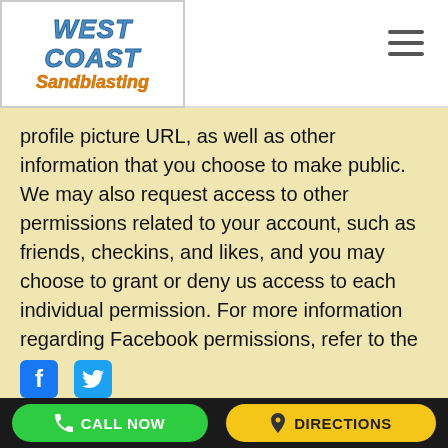West Coast Sandblasting
profile picture URL, as well as other information that you choose to make public. We may also request access to other permissions related to your account, such as friends, checkins, and likes, and you may choose to grant or deny us access to each individual permission. For more information regarding Facebook permissions, refer to the Facebook Permissions Reference page.